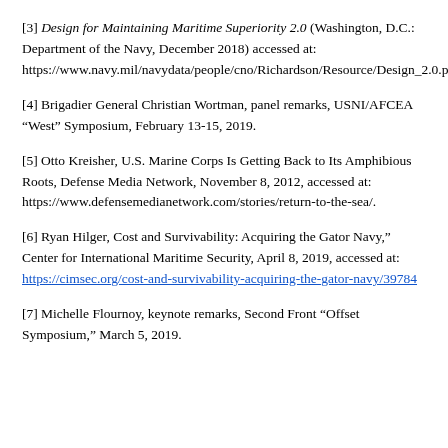[3] Design for Maintaining Maritime Superiority 2.0 (Washington, D.C.: Department of the Navy, December 2018) accessed at: https://www.navy.mil/navydata/people/cno/Richardson/Resource/Design_2.0.pdf.
[4] Brigadier General Christian Wortman, panel remarks, USNI/AFCEA “West” Symposium, February 13-15, 2019.
[5] Otto Kreisher, U.S. Marine Corps Is Getting Back to Its Amphibious Roots, Defense Media Network, November 8, 2012, accessed at: https://www.defensemedianetwork.com/stories/return-to-the-sea/.
[6] Ryan Hilger, Cost and Survivability: Acquiring the Gator Navy,” Center for International Maritime Security, April 8, 2019, accessed at: https://cimsec.org/cost-and-survivability-acquiring-the-gator-navy/39784
[7] Michelle Flournoy, keynote remarks, Second Front “Offset Symposium,” March 5, 2019.